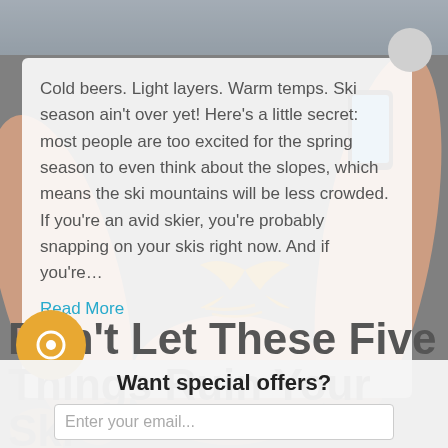[Figure (photo): Screenshot of a ski/lifestyle website with a popup overlay. Background shows mountain ski scene. Foreground has semi-transparent white card with article text and a modal popup asking for email subscription. Decorative arms and logo visible.]
Cold beers. Light layers. Warm temps. Ski season ain't over yet! Here's a little secret: most people are too excited for the spring season to even think about the slopes, which means the ski mountains will be less crowded. If you're an avid skier, you're probably snapping on your skis right now. And if you're…
Read More
Don't Let These Five Things Ruin Your Ski
Want special offers?
Enter your email...